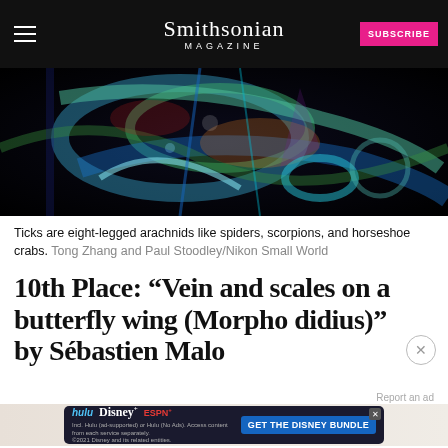Smithsonian MAGAZINE
[Figure (photo): Close-up microscope image of a tick (eight-legged arachnid), showing colorful iridescent structures against a dark background. Nikon Small World competition entry.]
Ticks are eight-legged arachnids like spiders, scorpions, and horseshoe crabs. Tong Zhang and Paul Stoodley/Nikon Small World
10th Place: “Vein and scales on a butterfly wing (Morpho didius)” by Sébastien Malo
[Figure (photo): Advertisement: Disney Bundle featuring Hulu, Disney+, and ESPN+. Text: GET THE DISNEY BUNDLE. Incl. Hulu (ad-supported) or Hulu (No Ads). Access content from each service separately. ©2021 Disney and its related entities.]